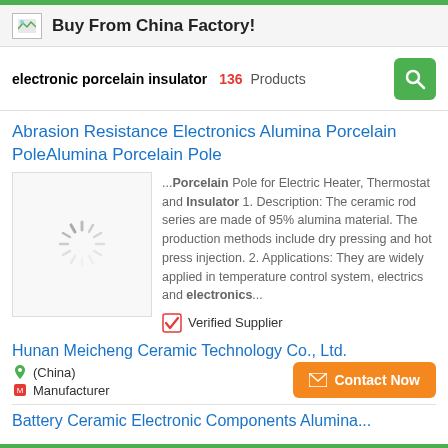Buy From China Factory!
electronic porcelain insulator  136  Products
Abrasion Resistance Electronics Alumina Porcelain PoleAlumina Porcelain Pole
[Figure (photo): Loading spinner image placeholder for product thumbnail]
...Porcelain Pole for Electric Heater, Thermostat and Insulator 1. Description: The ceramic rod series are made of 95% alumina material. The production methods include dry pressing and hot press injection. 2. Applications: They are widely applied in temperature control system, electrics and electronics...
✔ Verified Supplier
Hunan Meicheng Ceramic Technology Co., Ltd.
(China)
Manufacturer
Contact Now
Battery Ceramic Electronic Components Alumina...